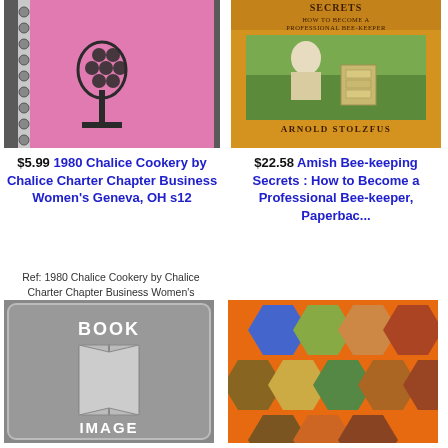[Figure (photo): Pink spiral-bound cookbook with wine glass and grapes illustration on cover]
$5.99   1980 Chalice Cookery by Chalice Charter Chapter Business Women's Geneva, OH s12
Ref: 1980 Chalice Cookery by Chalice Charter Chapter Business Women's Geneva, OH s12 Charter Chalice OH Chalice Women's 1980 s12 Business Geneva, by Cookery
[Figure (photo): Yellow book cover: Amish Bee-keeping Secrets: How to Become a Professional Bee-Keeper by Arnold Stolzfus, with photo of beekeeper tending hives]
$22.58   Amish Bee-keeping Secrets : How to Become a Professional Bee-keeper, Paperbac...
Ref: Amish Bee-keeping Secrets : How to Become a Professional Bee-keeper, Paperbac...
[Figure (illustration): Gray placeholder book image with BOOK and IMAGE text]
[Figure (photo): Honeycomb hexagonal collage of bee-related images on orange background]